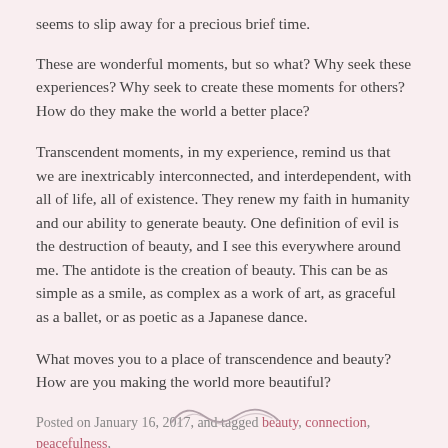seems to slip away for a precious brief time.
These are wonderful moments, but so what? Why seek these experiences? Why seek to create these moments for others? How do they make the world a better place?
Transcendent moments, in my experience, remind us that we are inextricably interconnected, and interdependent, with all of life, all of existence. They renew my faith in humanity and our ability to generate beauty. One definition of evil is the destruction of beauty, and I see this everywhere around me. The antidote is the creation of beauty. This can be as simple as a smile, as complex as a work of art, as graceful as a ballet, or as poetic as a Japanese dance.
What moves you to a place of transcendence and beauty? How are you making the world more beautiful?
Posted on January 16, 2017, and tagged beauty, connection, peacefulness, transcendence.
[Figure (illustration): Decorative squiggle/wave divider line at the bottom of the page]